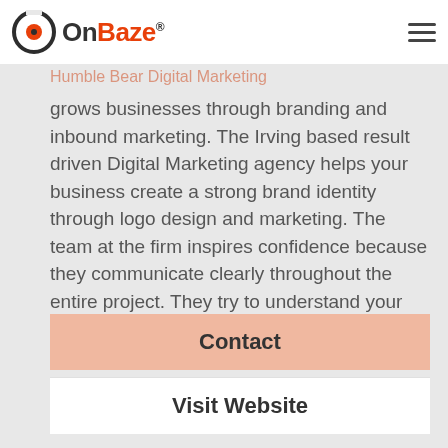OnBaze
Is Your Business Growing?
Humble Bear Digital Marketing
grows businesses through branding and inbound marketing. The Irving based result driven Digital Marketing agency helps your business create a strong brand identity through logo design and marketing. The team at the firm inspires confidence because they communicate clearly throughout the entire project. They try to understand your brand intimately and feel like a member of your internal team. Call Humble Bear at 214.310.1334 for strategies that outperform the competition.
Contact
Visit Website